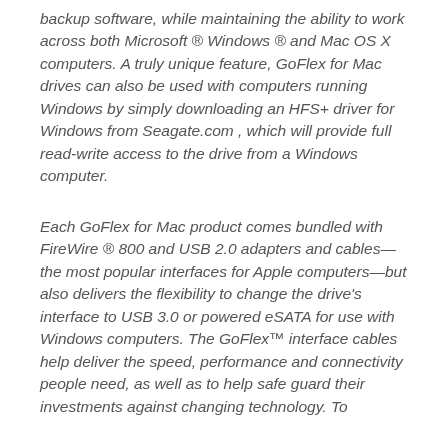backup software, while maintaining the ability to work across both Microsoft ® Windows ® and Mac OS X computers. A truly unique feature, GoFlex for Mac drives can also be used with computers running Windows by simply downloading an HFS+ driver for Windows from Seagate.com , which will provide full read-write access to the drive from a Windows computer.
Each GoFlex for Mac product comes bundled with FireWire ® 800 and USB 2.0 adapters and cables—the most popular interfaces for Apple computers—but also delivers the flexibility to change the drive's interface to USB 3.0 or powered eSATA for use with Windows computers. The GoFlex™ interface cables help deliver the speed, performance and connectivity people need, as well as to help safe guard their investments against changing technology. To